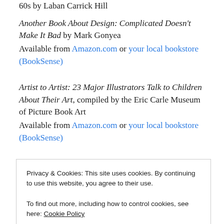60s by Laban Carrick Hill
Another Book About Design: Complicated Doesn't Make It Bad by Mark Gonyea
Available from Amazon.com or your local bookstore (BookSense)
Artist to Artist: 23 Major Illustrators Talk to Children About Their Art, compiled by the Eric Carle Museum of Picture Book Art
Available from Amazon.com or your local bookstore (BookSense)
Privacy & Cookies: This site uses cookies. By continuing to use this website, you agree to their use. To find out more, including how to control cookies, see here: Cookie Policy